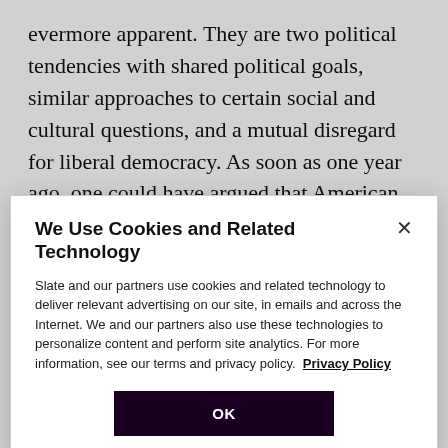evermore apparent. They are two political tendencies with shared political goals, similar approaches to certain social and cultural questions, and a mutual disregard for liberal democracy. As soon as one year ago, one could have argued that American and Hungarian conservatism were reinforcing each other from a position of strength. Today, the picture is not so clear. In fact, Carlson’s visit to Budapest comes not a moment too soon for Orbán—whose regime, paradoxically, is both
We Use Cookies and Related Technology
Slate and our partners use cookies and related technology to deliver relevant advertising on our site, in emails and across the Internet. We and our partners also use these technologies to personalize content and perform site analytics. For more information, see our terms and privacy policy. Privacy Policy
OK